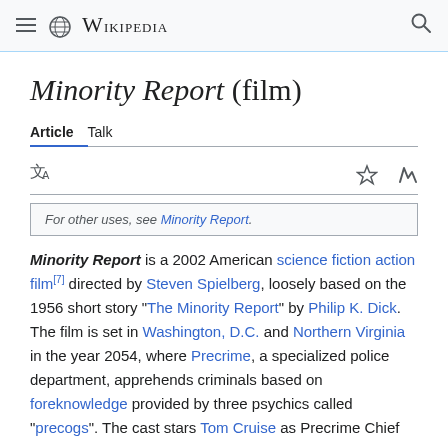Wikipedia
Minority Report (film)
Article  Talk
For other uses, see Minority Report.
Minority Report is a 2002 American science fiction action film[7] directed by Steven Spielberg, loosely based on the 1956 short story "The Minority Report" by Philip K. Dick. The film is set in Washington, D.C. and Northern Virginia in the year 2054, where Precrime, a specialized police department, apprehends criminals based on foreknowledge provided by three psychics called "precogs". The cast stars Tom Cruise as Precrime Chief